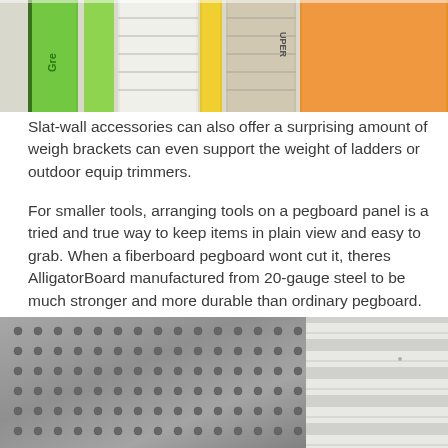[Figure (photo): Close-up photo of colorful slat-wall panel accessories including green, yellow, and orange tools or equipment handles arranged vertically.]
Slat-wall accessories can also offer a surprising amount of weigh brackets can even support the weight of ladders or outdoor equip trimmers.
For smaller tools, arranging tools on a pegboard panel is a tried and true way to keep items in plain view and easy to grab. When a fiberboard pegboard wont cut it, theres AlligatorBoard manufactured from 20-gauge steel to be much stronger and more durable than ordinary pegboard. The metal wont warp, tear, dis-color or rust, and AlligatorBoard features strength-reinforcing dimpled holes, making it easier to install tool hooks than on other pegboards.
[Figure (photo): Close-up photo of a metal AlligatorBoard pegboard with dimpled holes, shown next to white slat-wall panels.]